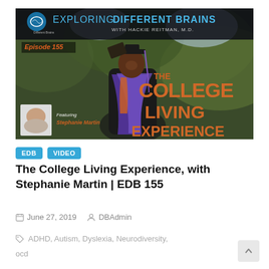[Figure (screenshot): Thumbnail image for podcast episode EDB 155. Header reads 'EXPLORING DIFFERENT BRAINS WITH HACKIE REITMAN, M.D.' with a brain logo. Text overlay reads 'Episode 155' and 'THE COLLEGE LIVING EXPERIENCE' in large orange letters. Features a photo of a smiling Black man in graduation cap and purple/orange academic regalia. Bottom-left corner shows a small portrait photo with text 'Featuring Stephanie Martin'.]
EDB
VIDEO
The College Living Experience, with Stephanie Martin | EDB 155
June 27, 2019   DBAdmin
ADHD, Autism, Dyslexia, Neurodiversity,
ocd